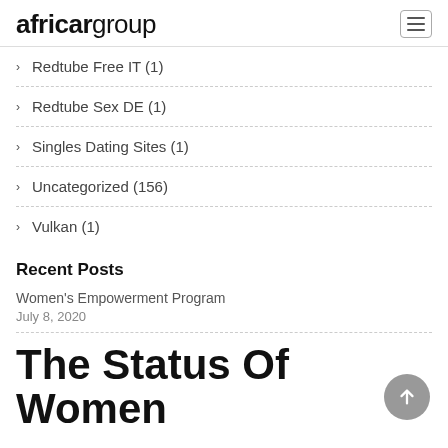africargroup
Redtube Free IT (1)
Redtube Sex DE (1)
Singles Dating Sites (1)
Uncategorized (156)
Vulkan (1)
Recent Posts
Women's Empowerment Program
July 8, 2020
The Status Of Women